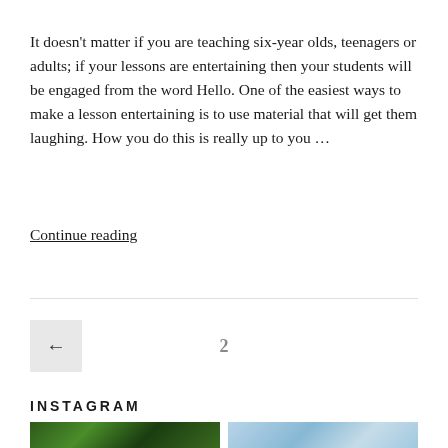It doesn't matter if you are teaching six-year olds, teenagers or adults; if your lessons are entertaining then your students will be engaged from the word Hello. One of the easiest ways to make a lesson entertaining is to use material that will get them laughing. How you do this is really up to you ...
Continue reading
← 2
INSTAGRAM
[Figure (photo): Outdoor nature photo showing trees with green foliage]
[Figure (photo): Outdoor sky/landscape photo with light blue tones]